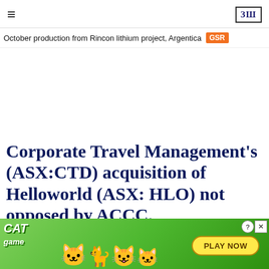≡   ЗШ
October production from Rincon lithium project, Argentica  GSR
Corporate Travel Management's (ASX:CTD) acquisition of Helloworld (ASX: HLO) not opposed by ACCC.
ASX N
[Figure (photo): Cat Game advertisement banner showing cartoon cats and a 'PLAY NOW' button on a green background]